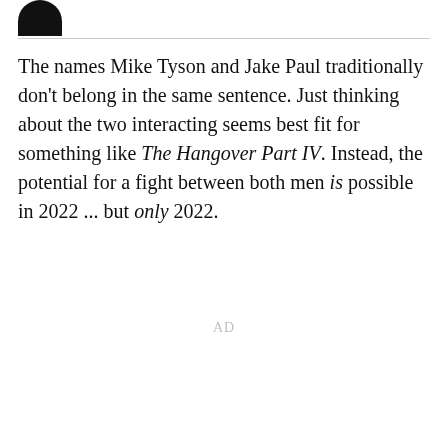[Figure (logo): Partial logo — dark semicircle shape at top left]
The names Mike Tyson and Jake Paul traditionally don't belong in the same sentence. Just thinking about the two interacting seems best fit for something like The Hangover Part IV. Instead, the potential for a fight between both men is possible in 2022 ... but only 2022.
AD